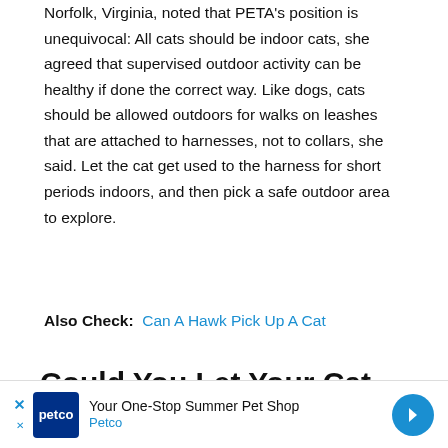Norfolk, Virginia, noted that PETA's position is unequivocal: All cats should be indoor cats, she agreed that supervised outdoor activity can be healthy if done the correct way. Like dogs, cats should be allowed outdoors for walks on leashes that are attached to harnesses, not to collars, she said. Let the cat get used to the harness for short periods indoors, and then pick a safe outdoor area to explore.
Also Check: Can A Hawk Pick Up A Cat
Could You Let Your Cat Outside
There are many reasons why owners make the decision to keep their cats indoors, perhaps a previous pet was heartbreakingly killed on the road, or maybe the home is a
[Figure (other): Petco advertisement banner: Your One-Stop Summer Pet Shop]